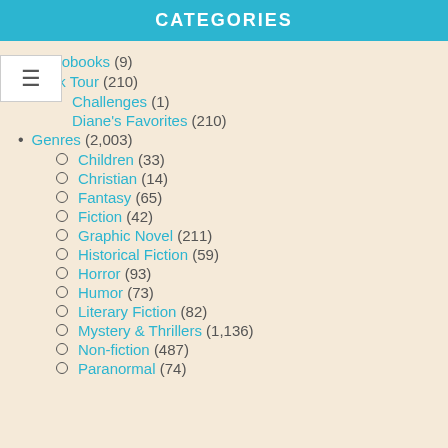CATEGORIES
Audiobooks (9)
Book Tour (210)
Challenges (1)
Diane's Favorites (210)
Genres (2,003)
Children (33)
Christian (14)
Fantasy (65)
Fiction (42)
Graphic Novel (211)
Historical Fiction (59)
Horror (93)
Humor (73)
Literary Fiction (82)
Mystery & Thrillers (1,136)
Non-fiction (487)
Paranormal (74)